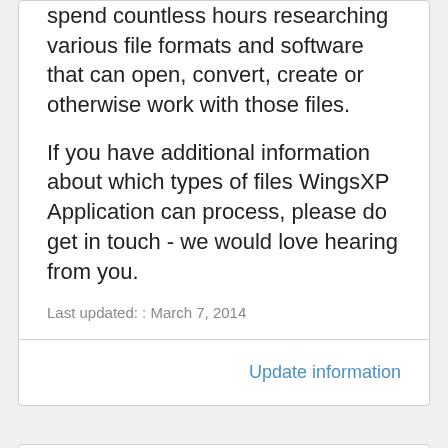spend countless hours researching various file formats and software that can open, convert, create or otherwise work with those files.
If you have additional information about which types of files WingsXP Application can process, please do get in touch - we would love hearing from you.
Last updated: : March 7, 2014
Update information
What is a file extension?